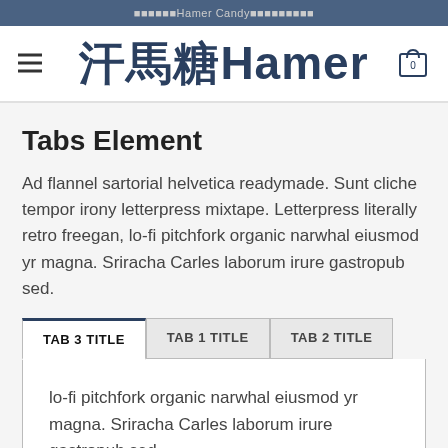汗馬糖Hamer Candy官方旗艦店
汗馬糖Hamer
Tabs Element
Ad flannel sartorial helvetica readymade. Sunt cliche tempor irony letterpress mixtape. Letterpress literally retro freegan, lo-fi pitchfork organic narwhal eiusmod yr magna. Sriracha Carles laborum irure gastropub sed.
TAB 3 TITLE | TAB 1 TITLE | TAB 2 TITLE
lo-fi pitchfork organic narwhal eiusmod yr magna. Sriracha Carles laborum irure gastropub sed.